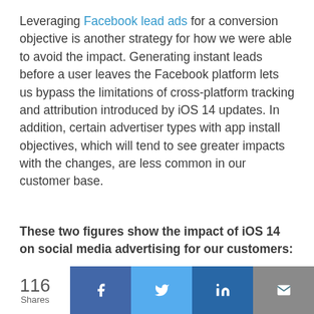Leveraging Facebook lead ads for a conversion objective is another strategy for how we were able to avoid the impact. Generating instant leads before a user leaves the Facebook platform lets us bypass the limitations of cross-platform tracking and attribution introduced by iOS 14 updates. In addition, certain advertiser types with app install objectives, which will tend to see greater impacts with the changes, are less common in our customer base.
These two figures show the impact of iOS 14 on social media advertising for our customers: